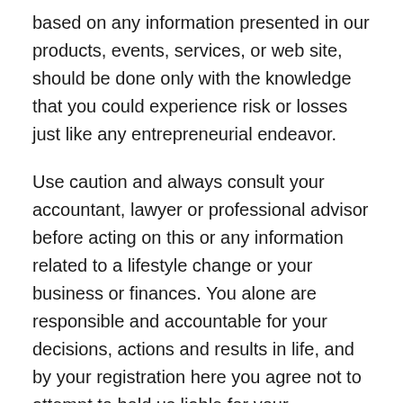based on any information presented in our products, events, services, or web site, should be done only with the knowledge that you could experience risk or losses just like any entrepreneurial endeavor.
Use caution and always consult your accountant, lawyer or professional advisor before acting on this or any information related to a lifestyle change or your business or finances. You alone are responsible and accountable for your decisions, actions and results in life, and by your registration here you agree not to attempt to hold us liable for your decisions, actions or results, at any time, under any circumstance.
Amazon Disclaimer